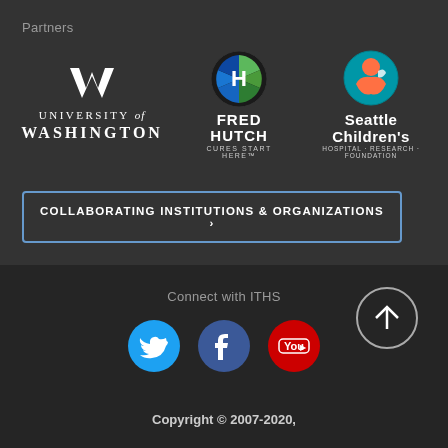Partners
[Figure (logo): University of Washington logo with W emblem and text]
[Figure (logo): Fred Hutch - Cures Start Here logo with circular green/blue emblem]
[Figure (logo): Seattle Children's Hospital Research Foundation logo with circular emblem]
COLLABORATING INSTITUTIONS & ORGANIZATIONS ›
Connect with ITHS
[Figure (logo): Twitter social media icon - blue circle]
[Figure (logo): Facebook social media icon - dark blue circle]
[Figure (logo): YouTube social media icon - red circle]
[Figure (other): Back to top arrow button - circle with upward arrow]
Copyright © 2007-2020,